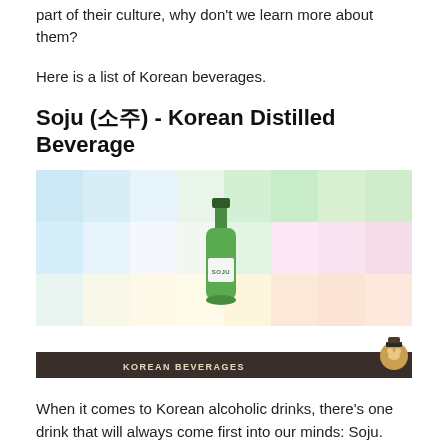part of their culture, why don't we learn more about them?
Here is a list of Korean beverages.
Soju (소주) - Korean Distilled Beverage
[Figure (illustration): Illustration of a green Soju bottle with white label reading 'SOJU' on a colorful pastel grid background. Dark brown footer bar reads 'KOREAN BEVERAGES' with a cartoon monkey mascot on the right.]
When it comes to Korean alcoholic drinks, there's one drink that will always come first into our minds: Soju.